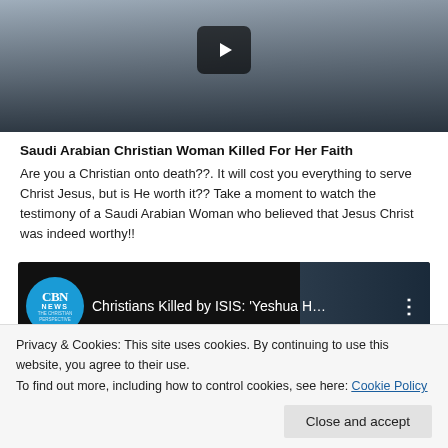[Figure (screenshot): Video thumbnail showing a man in a dark leather jacket with a play button overlay]
Saudi Arabian Christian Woman Killed For Her Faith
Are you a Christian onto death??. It will cost you everything to serve Christ Jesus, but is He worth it?? Take a moment to watch the testimony of a Saudi Arabian Woman who believed that Jesus Christ was indeed worthy!!
[Figure (screenshot): YouTube video thumbnail with CBN News logo showing 'Christians Killed by ISIS: Yeshua H...']
Privacy & Cookies: This site uses cookies. By continuing to use this website, you agree to their use.
To find out more, including how to control cookies, see here: Cookie Policy